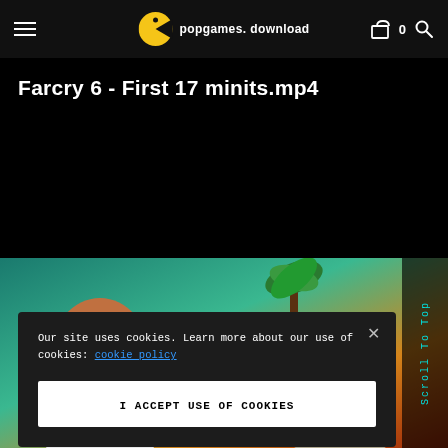popgames.download
Farcry 6 - First 17 minits.mp4
[Figure (screenshot): Website screenshot showing popgames.download page for Farcry 6 - First 17 minits.mp4 with a cookie consent popup overlay and Far Cry 6 game artwork at the bottom]
Our site uses cookies. Learn more about our use of cookies: cookie policy
I ACCEPT USE OF COOKIES